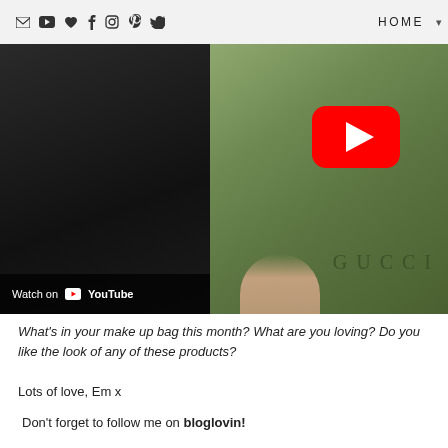✉ ▶ ♥ f 📷 📌 🐦  HOME
[Figure (screenshot): YouTube embedded video showing a dark background on the left half with 'Watch on YouTube' bar at the bottom, and a green Gucci box/bag on the right half with a YouTube play button overlay and 'GUCCI' text embossed on it.]
What's in your make up bag this month? What are you loving? Do you like the look of any of these products?
Lots of love, Em x
Don't forget to follow me on bloglovin!